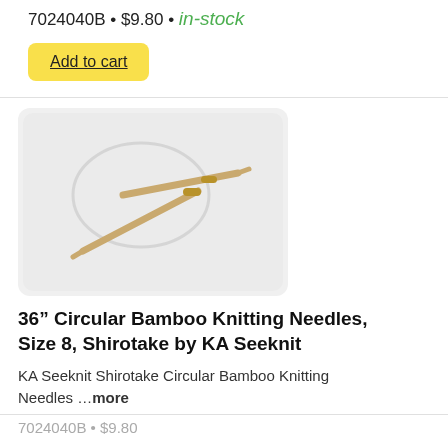7024040B • $9.80 • in-stock
Add to cart
[Figure (photo): Photo of circular bamboo knitting needles (36 inch, Size 8, Shirotake by KA Seeknit) on a light gray background. The needles are tan/bamboo colored with a thin flexible cable connector.]
36" Circular Bamboo Knitting Needles, Size 8, Shirotake by KA Seeknit
KA Seeknit Shirotake Circular Bamboo Knitting Needles ...more
7024040B • $9.80